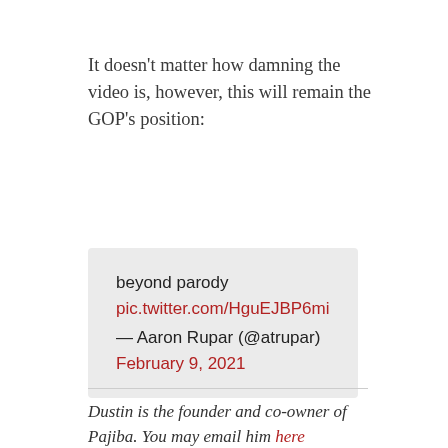It doesn't matter how damning the video is, however, this will remain the GOP's position:
beyond parody pic.twitter.com/HguEJBP6mi — Aaron Rupar (@atrupar) February 9, 2021
Dustin is the founder and co-owner of Pajiba. You may email him here.